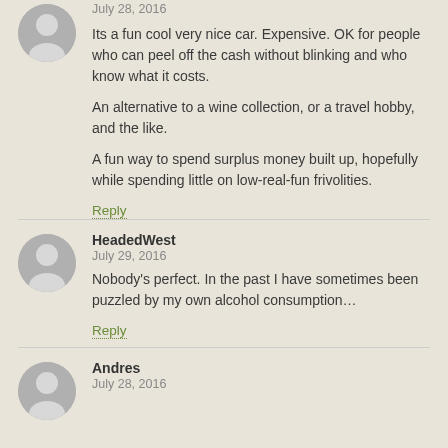July 28, 2016
Its a fun cool very nice car. Expensive. OK for people who can peel off the cash without blinking and who know what it costs.

An alternative to a wine collection, or a travel hobby, and the like.

A fun way to spend surplus money built up, hopefully while spending little on low-real-fun frivolities.
Reply
HeadedWest
July 29, 2016
Nobody's perfect. In the past I have sometimes been puzzled by my own alcohol consumption…
Reply
Andres
July 28, 2016